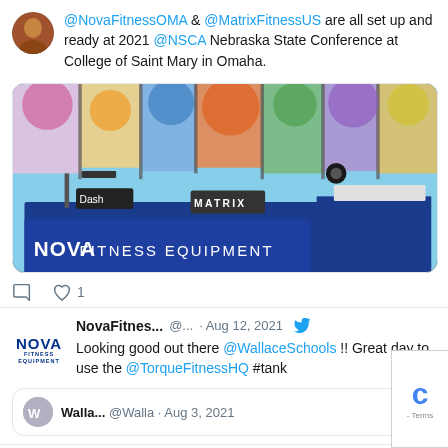@NovaFitnessOMA & @MatrixFitnessUS are all set up and ready at 2021 @NSCA Nebraska State Conference at College of Saint Mary in Omaha.
[Figure (photo): Photo of a trade show booth with a blue tablecloth reading 'NOVA FITNESS EQUIPMENT', Matrix fitness equipment on display, and colorful stained glass windows in the background.]
1 like
NovaFitnes... @... · Aug 12, 2021
Looking good out there @WallaceSchools !! Great day to use the @TorqueFitnessHQ #tank
Walla... @Walla · Aug 3, 2021